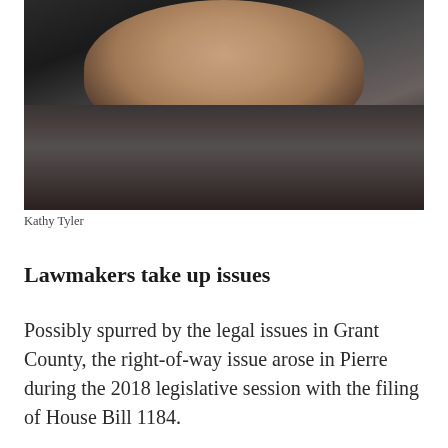[Figure (photo): Portrait photo of Kathy Tyler, a woman wearing a dark leather jacket, photographed against a dark background.]
Kathy Tyler
Lawmakers take up issues
Possibly spurred by the legal issues in Grant County, the right-of-way issue arose in Pierre during the 2018 legislative session with the filing of House Bill 1184.